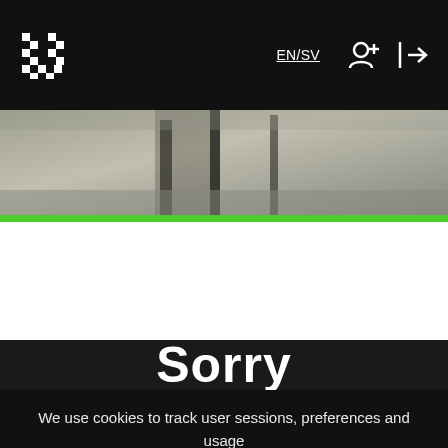EN/SV
[Figure (screenshot): Website screenshot with dark navigation bar featuring checkered U logo, EN/SV language toggle, user icon, and login icon. Below is a photo strip of an interior staircase scene with a bright green accent bar.]
Sorry
We use cookies to track user sessions, preferences and usage
I understand
Our privacy policy